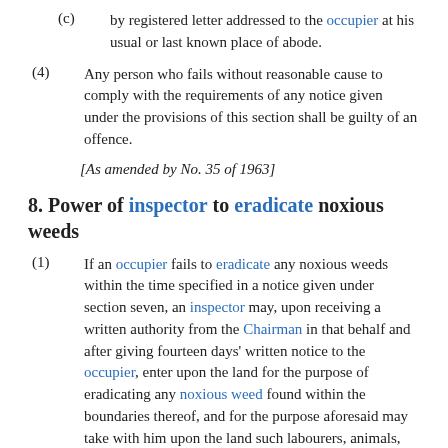(c) by registered letter addressed to the occupier at his usual or last known place of abode.
(4) Any person who fails without reasonable cause to comply with the requirements of any notice given under the provisions of this section shall be guilty of an offence.
[As amended by No. 35 of 1963]
8. Power of inspector to eradicate noxious weeds
(1) If an occupier fails to eradicate any noxious weeds within the time specified in a notice given under section seven, an inspector may, upon receiving a written authority from the Chairman in that behalf and after giving fourteen days' written notice to the occupier, enter upon the land for the purpose of eradicating any noxious weed found within the boundaries thereof, and for the purpose aforesaid may take with him upon the land such labourers, animals, vehicles, instruments, appliances